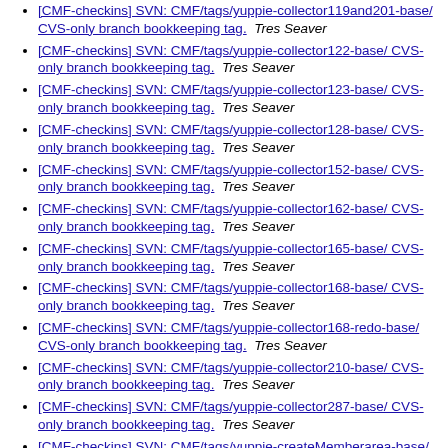[CMF-checkins] SVN: CMF/tags/yuppie-collector119and201-base/ CVS-only branch bookkeeping tag.  Tres Seaver
[CMF-checkins] SVN: CMF/tags/yuppie-collector122-base/ CVS-only branch bookkeeping tag.  Tres Seaver
[CMF-checkins] SVN: CMF/tags/yuppie-collector123-base/ CVS-only branch bookkeeping tag.  Tres Seaver
[CMF-checkins] SVN: CMF/tags/yuppie-collector128-base/ CVS-only branch bookkeeping tag.  Tres Seaver
[CMF-checkins] SVN: CMF/tags/yuppie-collector152-base/ CVS-only branch bookkeeping tag.  Tres Seaver
[CMF-checkins] SVN: CMF/tags/yuppie-collector162-base/ CVS-only branch bookkeeping tag.  Tres Seaver
[CMF-checkins] SVN: CMF/tags/yuppie-collector165-base/ CVS-only branch bookkeeping tag.  Tres Seaver
[CMF-checkins] SVN: CMF/tags/yuppie-collector168-base/ CVS-only branch bookkeeping tag.  Tres Seaver
[CMF-checkins] SVN: CMF/tags/yuppie-collector168-redo-base/ CVS-only branch bookkeeping tag.  Tres Seaver
[CMF-checkins] SVN: CMF/tags/yuppie-collector210-base/ CVS-only branch bookkeeping tag.  Tres Seaver
[CMF-checkins] SVN: CMF/tags/yuppie-collector287-base/ CVS-only branch bookkeeping tag.  Tres Seaver
[CMF-checkins] SVN: CMF/tags/yuppie-createMemberarea-base/ CVS-only branch bookkeeping tag.  Tres Seaver